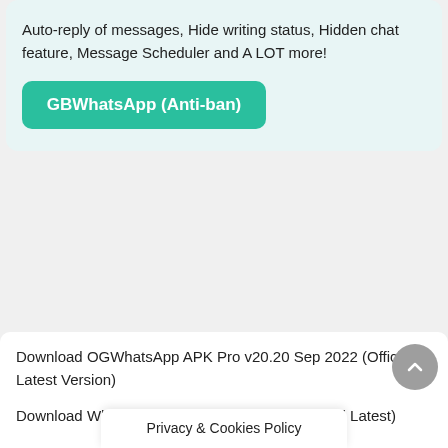Auto-reply of messages, Hide writing status, Hidden chat feature, Message Scheduler and A LOT more!
[Figure (other): Green button labeled GBWhatsApp (Anti-ban)]
Download OGWhatsApp APK Pro v20.20 Sep 2022 (Official Latest Version)
Download WhatsApp Plus APK Sep 2022 (Official Latest)
Privacy & Cookies Policy